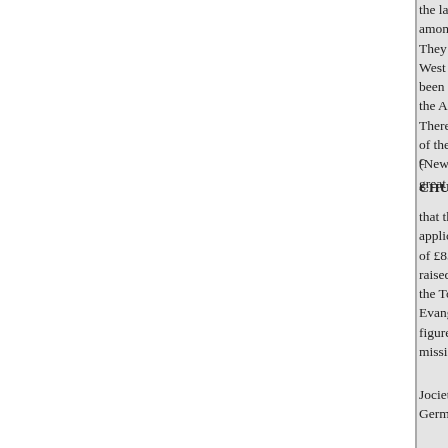the last annual meetcommodation among other communions with w They had found that the S ciety t West Indies, Australia, and Capla been men rallying round it, and t the Assembly of the Pres- Drape There have been also five wives of the the motion of Mr. Hansen (Newry), a cordial after which th great number of leadmg Wesle, a
c
CHURCH MISSIONARY SOCI
that the total ordi- 827 applicants applicants had received grants of of £853. Grants leaving a surplus raised in the missions and Societ the Toulouse Book Society, and t Evangelical Societies, amountfu figures, and amounted to about £ missionary
Jociety. Grants had also been r Germany, men, 9 Europt an fema